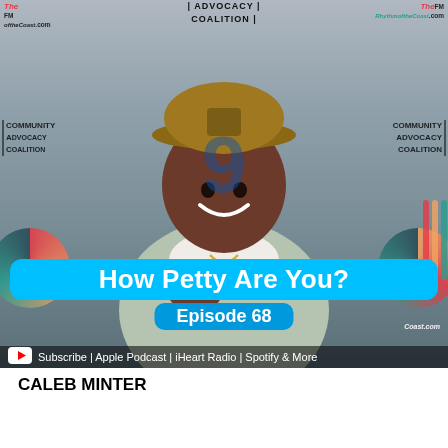[Figure (photo): A smiling Black man wearing a tan/khaki baseball cap with a leopard patch, a light sage green button-up shirt over a white t-shirt, and a gold chain necklace. He is making a hand gesture toward his chest. Behind him is a step-and-repeat banner featuring 'Community Advocacy Coalition', '99 FM', and 'RhythmoftheCoast.com' logos. Overlaid on the lower portion of the image is a bright cyan/blue rounded rectangle with white bold text 'How Petty Are You?' and below that 'Episode 68' in a darker blue pill shape. At the very bottom is a dark semi-transparent bar with a YouTube play icon and text 'Subscribe | Apple Podcast | iHeart Radio | Spotify & More'.]
CALEB MINTER